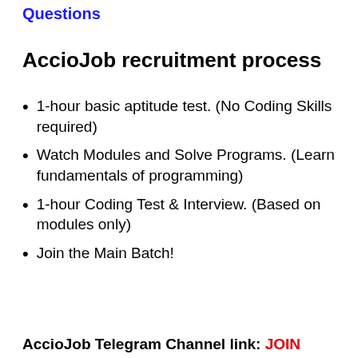Questions
AccioJob recruitment process
1-hour basic aptitude test. (No Coding Skills required)
Watch Modules and Solve Programs. (Learn fundamentals of programming)
1-hour Coding Test & Interview. (Based on modules only)
Join the Main Batch!
AccioJob Telegram Channel link: JOIN